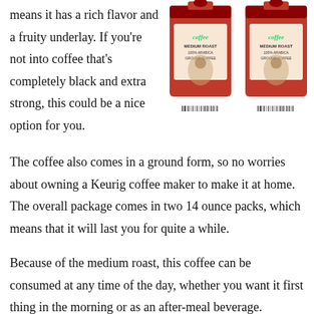means it has a rich flavor and a fruity underlay. If you're not into coffee that's completely black and extra strong, this could be a nice option for you.
[Figure (photo): Two red bags of medium roast 100% Arabica ground coffee, each labeled NET WT. 14 OZ (397g), with a vintage-style illustration of a person on the packaging.]
The coffee also comes in a ground form, so no worries about owning a Keurig coffee maker to make it at home. The overall package comes in two 14 ounce packs, which means that it will last you for quite a while.
Because of the medium roast, this coffee can be consumed at any time of the day, whether you want it first thing in the morning or as an after-meal beverage.